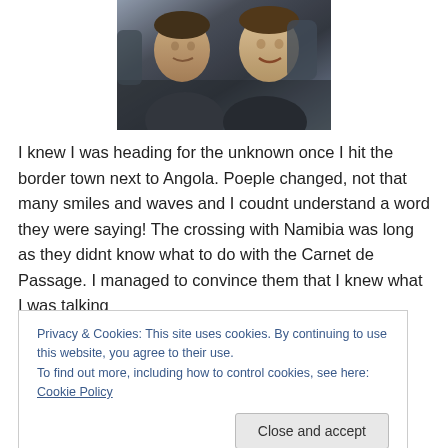[Figure (photo): Two men smiling closely together, wearing dark jackets, outdoors in cold weather environment.]
I knew I was heading for the unknown once I hit the border town next to Angola. Poeple changed, not that many smiles and waves and I coudnt understand a word they were saying! The crossing with Namibia was long as they didnt know what to do with the Carnet de Passage. I managed to convince them that I knew what I was talking
Privacy & Cookies: This site uses cookies. By continuing to use this website, you agree to their use.
To find out more, including how to control cookies, see here: Cookie Policy
stage where I am too scared to leave my helmet and